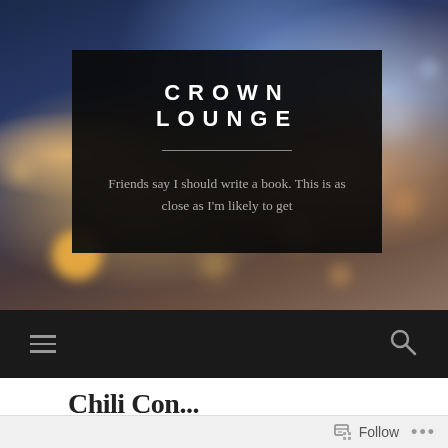[Figure (screenshot): Website header screenshot for 'Crown Lounge' blog — bokeh night lights background image, dark overlay title card, navigation bar with hamburger menu and search icon, partial post title visible, and Follow bar at bottom.]
CROWN LOUNGE
Friends say I should write a book. This is as close as I'm likely to get